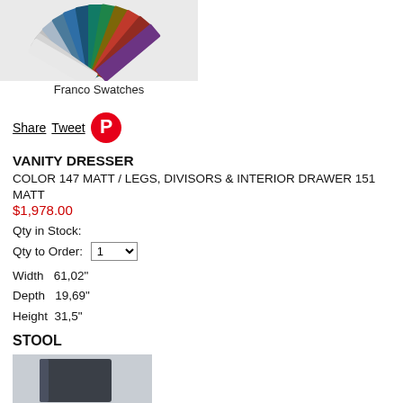[Figure (photo): Fan of color swatches arranged in a semi-circular spread, showing various colors including metallics and colors.]
Franco Swatches
Share  Tweet  [Pinterest icon]
VANITY DRESSER
COLOR 147 MATT / LEGS, DIVISORS & INTERIOR DRAWER 151 MATT
$1,978.00
Qty in Stock:
Qty to Order:  1
Width   61,02"
Depth   19,69"
Height  31,5"
STOOL
[Figure (photo): Image of a dark grey/black stool or ottoman.]